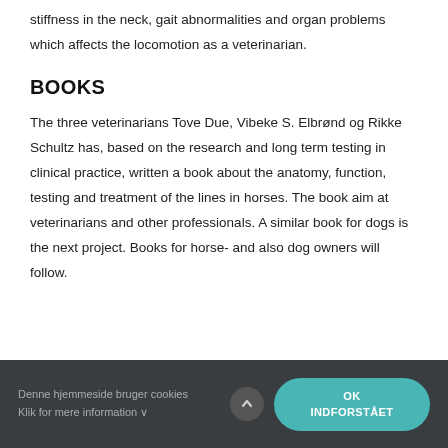stiffness in the neck, gait abnormalities and organ problems which affects the locomotion as a veterinarian.
BOOKS
The three veterinarians Tove Due, Vibeke S. Elbrønd og Rikke Schultz has, based on the research and long term testing in clinical practice, written a book about the anatomy, function, testing and treatment of the lines in horses. The book aim at veterinarians and other professionals. A similar book for dogs is the next project. Books for horse- and also dog owners will follow.
Denne hjemmeside bruger cookies Klik for mere information ∨  OK INDFORSTÅET